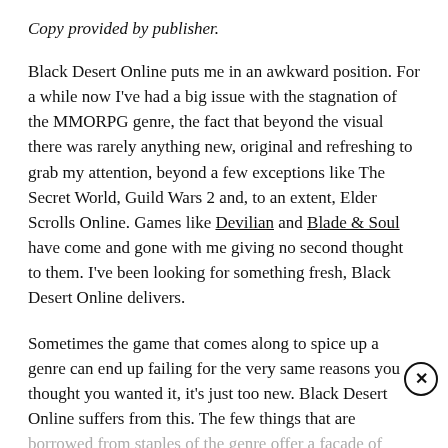Copy provided by publisher.
Black Desert Online puts me in an awkward position. For a while now I've had a big issue with the stagnation of the MMORPG genre, the fact that beyond the visual there was rarely anything new, original and refreshing to grab my attention, beyond a few exceptions like The Secret World, Guild Wars 2 and, to an extent, Elder Scrolls Online. Games like Devilian and Blade & Soul have come and gone with me giving no second thought to them. I've been looking for something fresh, Black Desert Online delivers.
Sometimes the game that comes along to spice up a genre can end up failing for the very same reasons you thought you wanted it, it's just too new. Black Desert Online suffers from this. The few things that are borrowed from staples of the genre offer a facade of similarity, but there's a whole new world lying beneath,